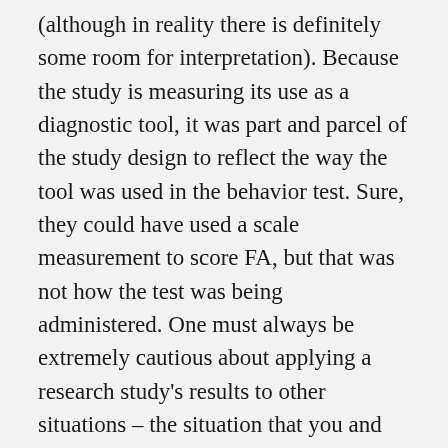(although in reality there is definitely some room for interpretation). Because the study is measuring its use as a diagnostic tool, it was part and parcel of the study design to reflect the way the tool was used in the behavior test. Sure, they could have used a scale measurement to score FA, but that was not how the test was being administered. One must always be extremely cautious about applying a research study's results to other situations – the situation that you and many people use the fake hand is not the same way in which it was